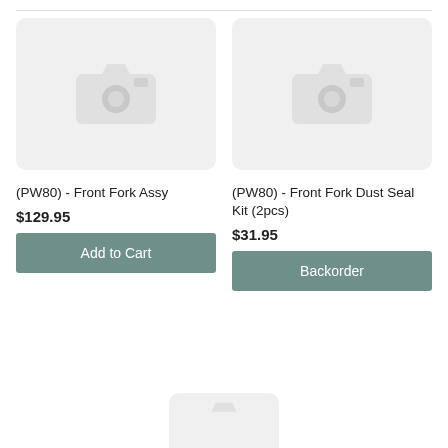[Figure (photo): Placeholder camera icon for product image: (PW80) - Front Fork Assy]
(PW80) - Front Fork Assy
$129.95
Add to Cart
[Figure (photo): Placeholder camera icon for product image: (PW80) - Front Fork Dust Seal Kit (2pcs)]
(PW80) - Front Fork Dust Seal Kit (2pcs)
$31.95
Backorder
[Figure (photo): Partial placeholder camera icon for a third product, cropped at bottom of page]